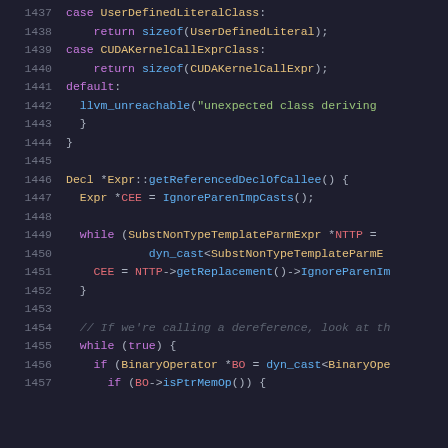Code listing lines 1437-1457 showing C++ source code for Expr::getReferencedDeclOfCallee() function with switch-case and while loops